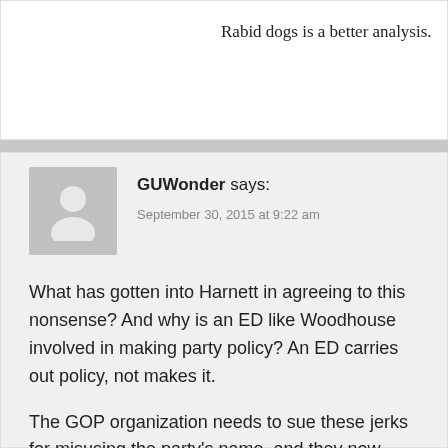Rabid dogs is a better analysis.
GUWonder says:
September 30, 2015 at 9:22 am
What has gotten into Harnett in agreeing to this nonsense? And why is an ED like Woodhouse involved in making party policy? An ED carries out policy, not makes it.
The GOP organization needs to sue these jerks for misusing the party's name, and they now need to allow party organizations and officials to get involved in primaries.